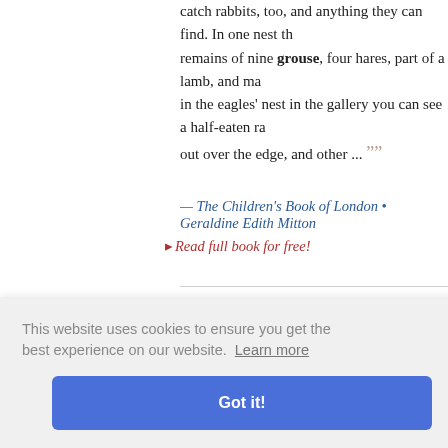catch rabbits, too, and anything they can find. In one nest the remains of nine grouse, four hares, part of a lamb, and many in the eagles' nest in the gallery you can see a half-eaten ra out over the edge, and other ... ””
— The Children's Book of London • Geraldine Edith Mitton
▸ Read full book for free!
““... roast goose, and between them innumerable smaller d chicken-pies, ragouts, cutlets, fricasees, tongue, and ham, a their silver receptacles on the table; on the sideboard was a beef, as a precaution against famine. With the sweets were pheasants; there were five kinds of wine, not including the c was consumed as a collateral all the way along. The puddin jantua mig
o much soi his curate-i laid this spirit, which had for many years haunted the wath o
This website uses cookies to ensure you get the best experience on our website. Learn more
Got it!